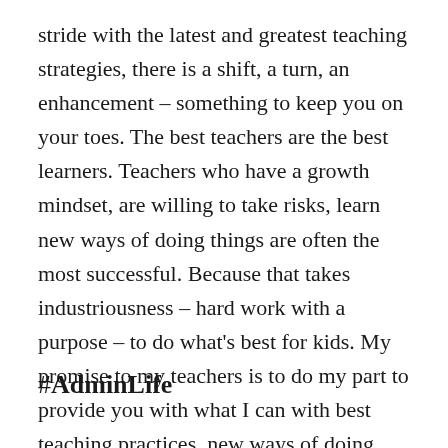stride with the latest and greatest teaching strategies, there is a shift, a turn, an enhancement – something to keep you on your toes. The best teachers are the best learners. Teachers who have a growth mindset, are willing to take risks, learn new ways of doing things are often the most successful. Because that takes industriousness – hard work with a purpose – to do what's best for kids. My promise to my teachers is to do my part to provide you with what I can with best teaching practices, new ways of doing things, encouraging you to take risks, try new things, and to be a reflective practitioner. I hope to do well by you.
#AdminLife